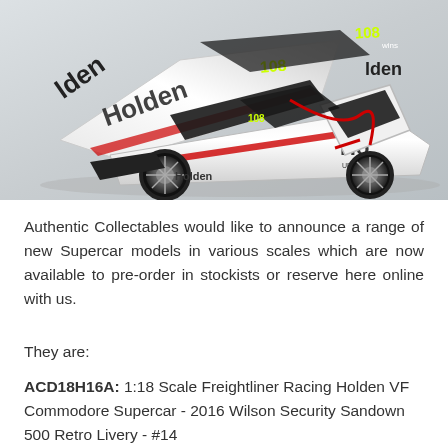[Figure (photo): A 1:18 scale die-cast model of a Holden VF Commodore Supercar in white with black, red and silver livery, with 'Holden' branding and number 108. The car model has its hood and driver door open, displayed on a light grey background.]
Authentic Collectables would like to announce a range of new Supercar models in various scales which are now available to pre-order in stockists or reserve here online with us.
They are:
ACD18H16A: 1:18 Scale Freightliner Racing Holden VF Commodore Supercar - 2016 Wilson Security Sandown 500 Retro Livery - #14